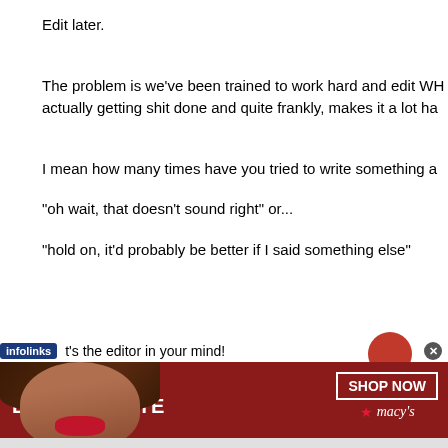Edit later.
The problem is we've been trained to work hard and edit WH actually getting shit done and quite frankly, makes it a lot ha
I mean how many times have you tried to write something a
“oh wait, that doesn’t sound right” or...
“hold on, it’d probably be better if I said something else”
t’s the editor in your mind!
[Figure (screenshot): Infolinks advertisement banner overlay with Macy's 'Kiss Boring Lips Goodbye' ad showing a woman's face with red lipstick]